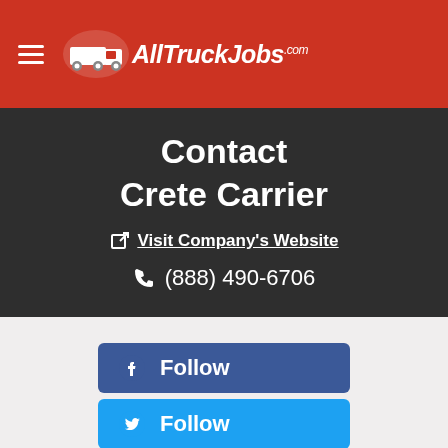AllTruckJobs.com
Contact Crete Carrier
Visit Company's Website
(888) 490-6706
Follow
Follow
Browse Other Jobs